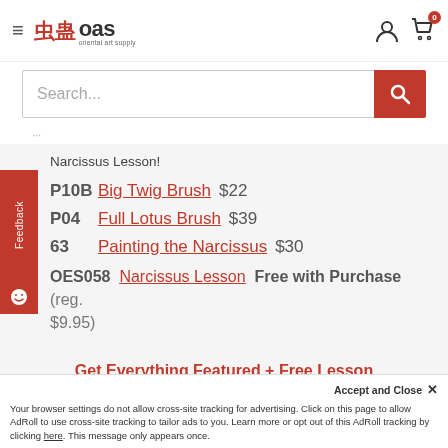OAS - Oriental Art Supply
Search...
Narcissus Lesson!
P10B  Big Twig Brush  $22
P04  Full Lotus Brush  $39
63  Painting the Narcissus  $30
OES058  Narcissus Lesson  Free with Purchase (reg. $9.95)
Get Everything Featured + Free Lesson
Accept and Close ✕
Your browser settings do not allow cross-site tracking for advertising. Click on this page to allow AdRoll to use cross-site tracking to tailor ads to you. Learn more or opt out of this AdRoll tracking by clicking here. This message only appears once.